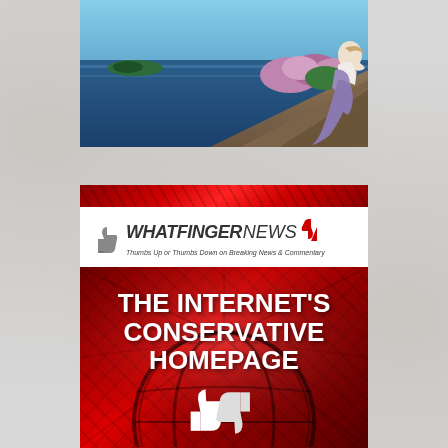[Figure (illustration): Painting of a woman in classical/mythological style wearing white and purple robes, reclining on rocky cliffs overlooking a blue sea with a small island in the distance. Pink flowering shrubs are behind her.]
[Figure (logo): WhatfingerNews logo: thumbs up icon on left, bold text WHATFINGER in dark italic and NEWS in dark italic, thumbs down icon in red on right, subtitle reads 'Thumbs Up or Thumbs Down on Breaking News & Commentary']
[Figure (infographic): Dark red advertisement banner with diagonal streaks reading 'THE INTERNET'S CONSERVATIVE HOMEPAGE' in large white bold text, with a large globe outline and thumbs up/thumbs down white silhouette icons at the bottom center.]